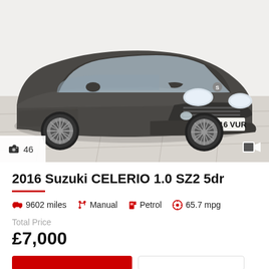[Figure (photo): Grey Suzuki Celerio hatchback car with registration plate NK16 VUR, photographed in a showroom with light tiled floor and white walls. Front three-quarter view showing the grille, headlights, and alloy wheels.]
46
2016 Suzuki CELERIO 1.0 SZ2 5dr
9602 miles   Manual   Petrol   65.7 mpg
Total Price
£7,000